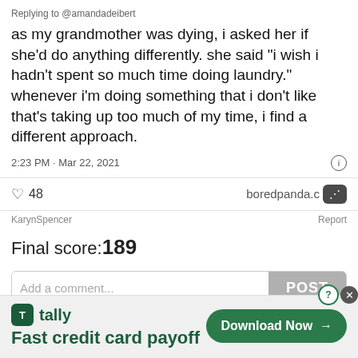Replying to @amandadeibert
as my grandmother was dying, i asked her if she'd do anything differently. she said “i wish i hadn’t spent so much time doing laundry.” whenever i’m doing something that i don’t like that’s taking up too much of my time, i find a different approach.
2:23 PM · Mar 22, 2021
48   boredpanda.com
KarynSpencer    Report
Final score:189
Add a comment...   POST
El Dee  1 year ago
[Figure (screenshot): Advertisement banner for Tally app: Fast credit card payoff, with Download Now button]